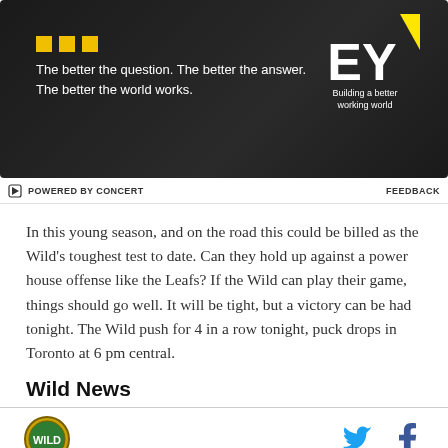[Figure (other): EY (Ernst & Young) advertisement banner on dark background with yellow dots and tagline 'The better the question. The better the answer. The better the world works.' with EY logo and 'Building a better working world' text]
⚡ POWERED BY CONCERT   FEEDBACK
In this young season, and on the road this could be billed as the Wild's toughest test to date. Can they hold up against a power house offense like the Leafs? If the Wild can play their game, things should go well. It will be tight, but a victory can be had tonight. The Wild push for 4 in a row tonight, puck drops in Toronto at 6 pm central.
Wild News
[Figure (logo): Minnesota Wild circular team logo on bottom left, with Twitter and Facebook icons on the right]